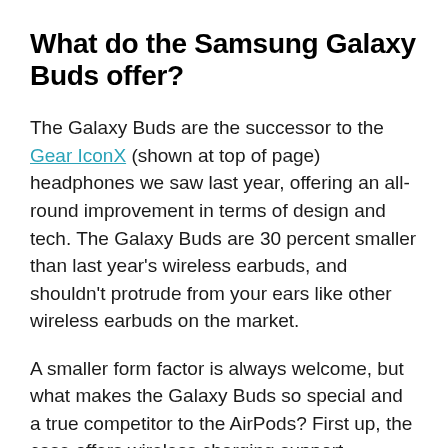What do the Samsung Galaxy Buds offer?
The Galaxy Buds are the successor to the Gear IconX (shown at top of page) headphones we saw last year, offering an all-round improvement in terms of design and tech. The Galaxy Buds are 30 percent smaller than last year's wireless earbuds, and shouldn't protrude from your ears like other wireless earbuds on the market.
A smaller form factor is always welcome, but what makes the Galaxy Buds so special and a true competitor to the AirPods? First up, the case offers wireless charging support (something AirPods should offer soon) that is compatible not only with a range of wireless chargers but the